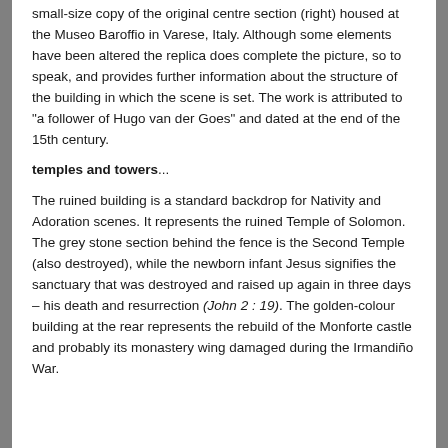small-size copy of the original centre section (right) housed at the Museo Baroffio in Varese, Italy. Although some elements have been altered the replica does complete the picture, so to speak, and provides further information about the structure of the building in which the scene is set. The work is attributed to "a follower of Hugo van der Goes" and dated at the end of the 15th century.
temples and towers...
The ruined building is a standard backdrop for Nativity and Adoration scenes. It represents the ruined Temple of Solomon. The grey stone section behind the fence is the Second Temple (also destroyed), while the newborn infant Jesus signifies the sanctuary that was destroyed and raised up again in three days – his death and resurrection (John 2 : 19). The golden-colour building at the rear represents the rebuild of the Monforte castle and probably its monastery wing damaged during the Irmandiño War.